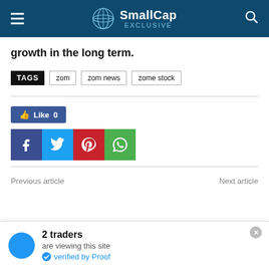SmallCap EXCLUSIVE
growth in the long term.
TAGS   zom   zom news   zome stock
[Figure (screenshot): Social media share buttons: Facebook Like (0), Facebook, Twitter, Pinterest, WhatsApp]
Previous article    Next article
2 traders are viewing this site verified by Proof